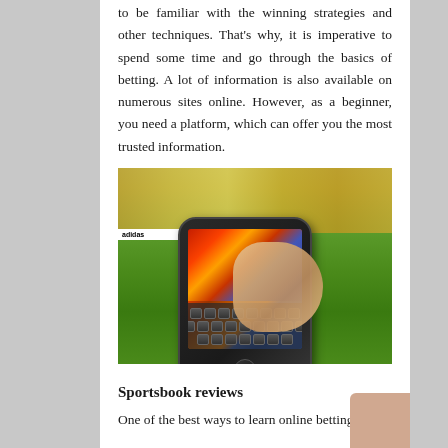to be familiar with the winning strategies and other techniques. That's why, it is imperative to spend some time and go through the basics of betting. A lot of information is also available on numerous sites online. However, as a beginner, you need a platform, which can offer you the most trusted information.
[Figure (photo): A hand holding a smartphone displaying a slot machine game app, with a football stadium and green pitch visible in the background. An Adidas advertising board is visible along the pitch.]
Sportsbook reviews
One of the best ways to learn online betting is